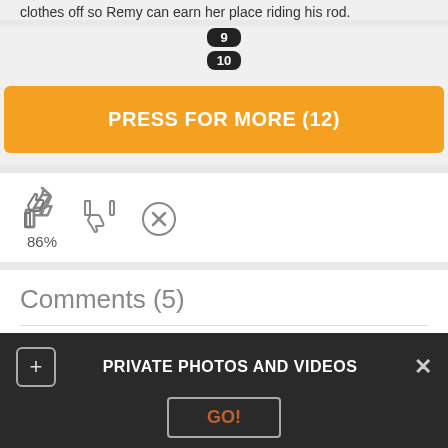clothes off so Remy can earn her place riding his rod.
9
10
PRESS FOR MORE (12)
[Figure (illustration): Thumbs up icon with 86% rating, thumbs down icon, and X circle icon]
Comments (5)
Ailes - 14 April 05:54
Eros 12, Ludus 3, Storge 7, Pragma 5, Mania 5, Agape 7
PRIVATE PHOTOS AND VIDEOS
GO!